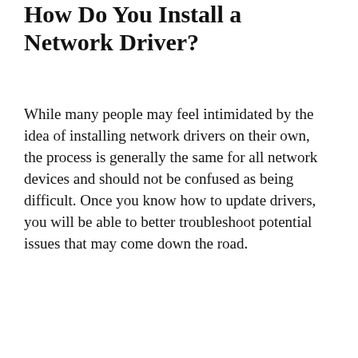How Do You Install a Network Driver?
While many people may feel intimidated by the idea of installing network drivers on their own, the process is generally the same for all network devices and should not be confused as being difficult. Once you know how to update drivers, you will be able to better troubleshoot potential issues that may come down the road.